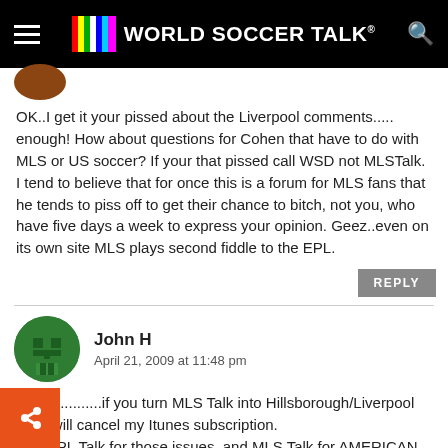World Soccer Talk
OK..I get it your pissed about the Liverpool comments..... enough! How about questions for Cohen that have to do with MLS or US soccer? If your that pissed call WSD not MLSTalk. I tend to believe that for once this is a forum for MLS fans that he tends to piss off to get their chance to bitch, not you, who have five days a week to express your opinion. Geez..even on its own site MLS plays second fiddle to the EPL.
REPLY
John H
April 21, 2009 at 11:48 pm
kartik............if you turn MLS Talk into Hillsborough/Liverpool talk I will cancel my Itunes subscription.
...t EPL Talk for those issues, and MLS Talk for AMERICAN